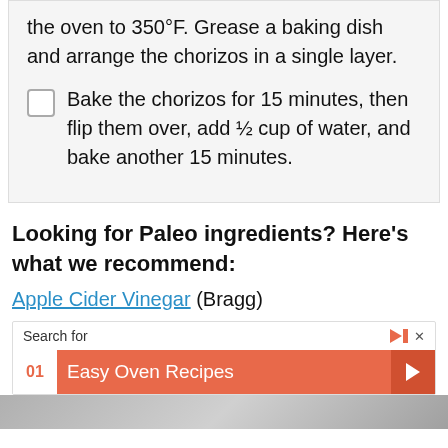the oven to 350°F. Grease a baking dish and arrange the chorizos in a single layer.
Bake the chorizos for 15 minutes, then flip them over, add ½ cup of water, and bake another 15 minutes.
Looking for Paleo ingredients? Here's what we recommend:
Apple Cider Vinegar (Bragg)
Search for
01 Easy Oven Recipes